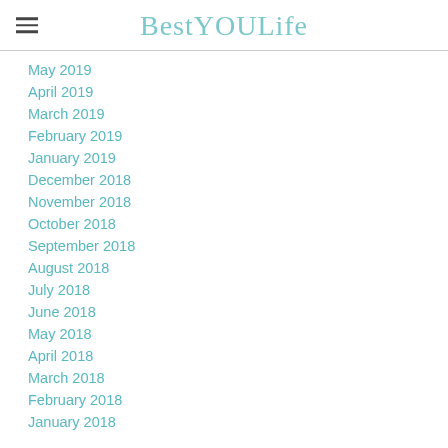BestYOULife
May 2019
April 2019
March 2019
February 2019
January 2019
December 2018
November 2018
October 2018
September 2018
August 2018
July 2018
June 2018
May 2018
April 2018
March 2018
February 2018
January 2018